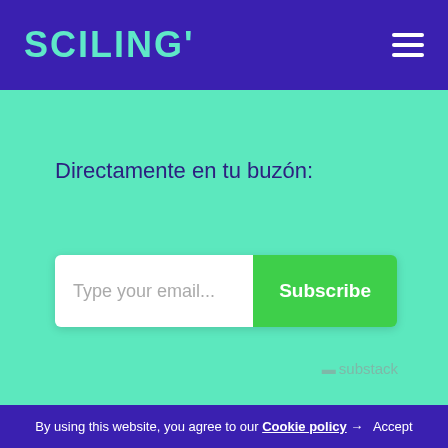SCILING'
Directamente en tu buzón:
[Figure (screenshot): Email subscription form with a white text input field showing placeholder 'Type your email...' and a green 'Subscribe' button]
⬛substack
By using this website, you agree to our Cookie policy → Accept